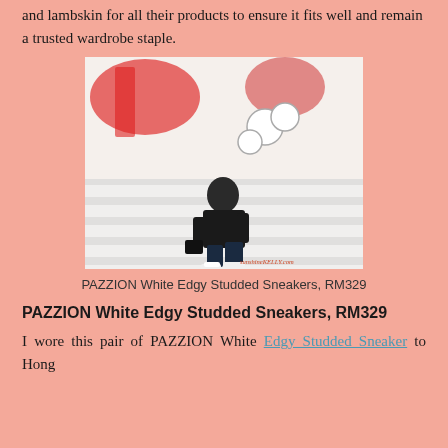and lambskin for all their products to ensure it fits well and remain a trusted wardrobe staple.
[Figure (photo): A woman wearing a black blazer, navy pants, and white sneakers sitting on white bleacher-style steps with a colorful mural in the background. Watermark reads sunshineKELLY.com]
PAZZION White Edgy Studded Sneakers, RM329
PAZZION White Edgy Studded Sneakers, RM329
I wore this pair of PAZZION White Edgy Studded Sneaker to Hong